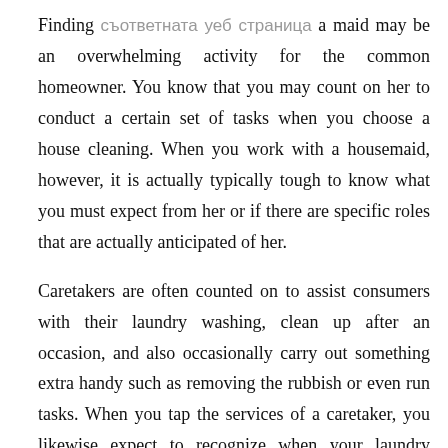Finding съответната уеб страница a maid may be an overwhelming activity for the common homeowner. You know that you may count on her to conduct a certain set of tasks when you choose a house cleaning. When you work with a housemaid, however, it is actually typically tough to know what you must expect from her or if there are specific roles that are actually anticipated of her.
Caretakers are often counted on to assist consumers with their laundry washing, clean up after an occasion, and also occasionally carry out something extra handy such as removing the rubbish or even run tasks. When you tap the services of a caretaker, you likewise expect to recognize when your laundry washing is actually done, when your bill is paid for, as well as just how often they will definitely visit the food store. Understanding what a great caretaker